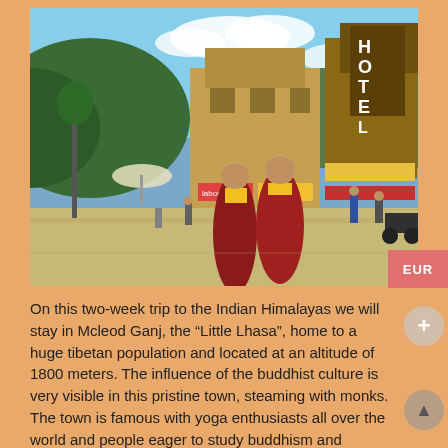[Figure (photo): Two Tibetan Buddhist monks in dark red robes walking in the main square of Mcleod Ganj, India. In the background are multi-storey commercial buildings including a hotel, shops with colorful signage, green forested hills, and a blue sky with white clouds. Several other people and vehicles are visible in the background.]
On this two-week trip to the Indian Himalayas we will stay in Mcleod Ganj, the “Little Lhasa”, home to a huge tibetan population and located at an altitude of 1800 meters. The influence of the buddhist culture is very visible in this pristine town, steaming with monks. The town is famous with yoga enthusiasts all over the world and people eager to study buddhism and buddhist temples. Our Guest House, the Ram Yoga House, is located right at the foot of the Indian Himalayas. The